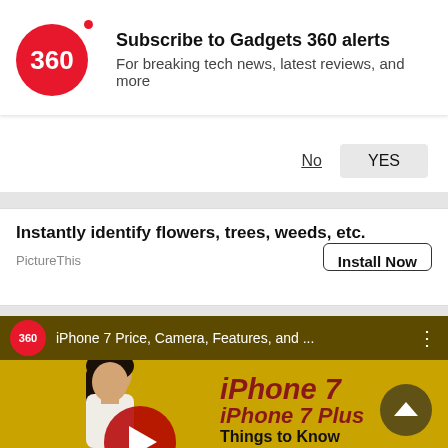[Figure (screenshot): Gadgets 360 subscription notification popup with red circular logo showing '360', bold text 'Subscribe to Gadgets 360 alerts', subtext 'For breaking tech news, latest reviews, and more', with 'No' and 'YES' buttons]
[Figure (screenshot): Advertisement banner: 'Instantly identify flowers, trees, weeds, etc.' from PictureThis app with 'Install Now' button]
[Figure (screenshot): YouTube video thumbnail for Gadgets 360 video titled 'iPhone 7 Price, Camera, Features, and ...' showing a woman presenter against yellow background with red italic text 'iPhone 7 iPhone 7 Plus Things to Know' and YouTube play button overlay. Scroll-to-top button in bottom right corner.]